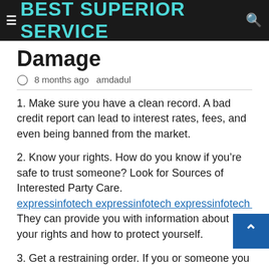BEST SUPERIOR SERVICE
Damage
8 months ago  amdadul
1. Make sure you have a clean record. A bad credit report can lead to interest rates, fees, and even being banned from the market.
2. Know your rights. How do you know if you’re safe to trust someone? Look for Sources of Interested Party Care.
expressinfotech expressinfotech expressinfotech expre
They can provide you with information about your rights and how to protect yourself.
3. Get a restraining order. If you or someone you know is in a relationship where money is an issue.